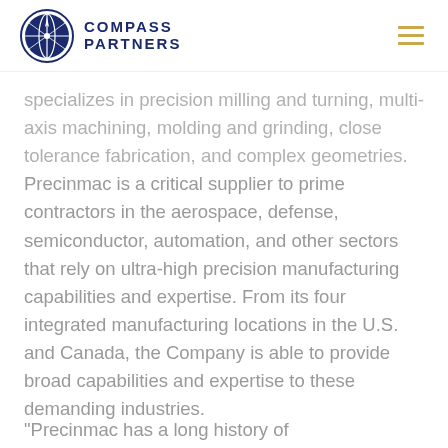COMPASS PARTNERS
specializes in precision milling and turning, multi-axis machining, molding and grinding, close tolerance fabrication, and complex geometries. Precinmac is a critical supplier to prime contractors in the aerospace, defense, semiconductor, automation, and other sectors that rely on ultra-high precision manufacturing capabilities and expertise. From its four integrated manufacturing locations in the U.S. and Canada, the Company is able to provide broad capabilities and expertise to these demanding industries.
"Precinmac has a long history of